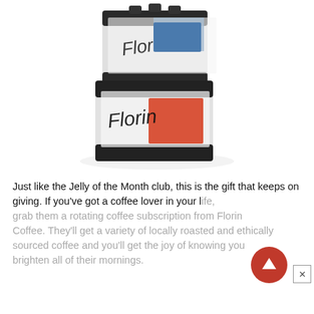[Figure (photo): Product photo showing two stacked coffee bags from Florin Coffee brand, with black and white packaging featuring blue and salmon/red color block accents. The bags have handwritten-style 'Florin' text on them.]
Just like the Jelly of the Month club, this is the gift that keeps on giving. If you've got a coffee lover in your life, grab them a rotating coffee subscription from Florin Coffee. They'll get a variety of locally roasted and ethically sourced coffee and you'll get the joy of knowing you brighten all of their mornings.